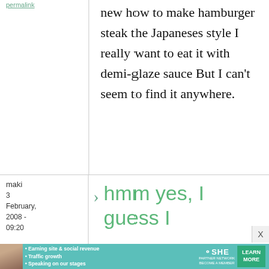permalink
new how to make hamburger steak the Japaneses style I really want to eat it with demi-glaze sauce But I can't seem to find it anywhere.
maki
3 February, 2008 - 09:20
hmm yes, I guess I
[Figure (infographic): SHE Partner Network advertisement banner with photo, bullet points, logo and learn more button]